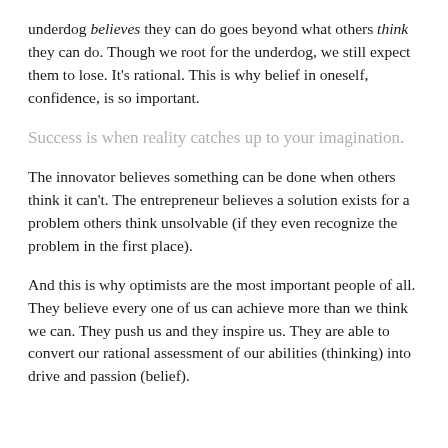underdog believes they can do goes beyond what others think they can do. Though we root for the underdog, we still expect them to lose. It's rational. This is why belief in oneself, confidence, is so important.
Success is when reality catches up to your imagination.
The innovator believes something can be done when others think it can't. The entrepreneur believes a solution exists for a problem others think unsolvable (if they even recognize the problem in the first place).
And this is why optimists are the most important people of all. They believe every one of us can achieve more than we think we can. They push us and they inspire us. They are able to convert our rational assessment of our abilities (thinking) into drive and passion (belief).